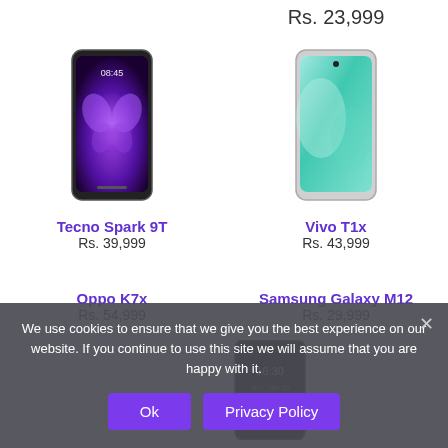Rs. 23,999
[Figure (photo): Tecno Spark 9T smartphone with purple butterfly wallpaper on dark background]
Tecno Spark 9T
Rs. 39,999
[Figure (photo): Vivo T1x smartphone with teal/mint gradient wallpaper]
Vivo T1x
Rs. 43,999
Oppo K7x
Rs. 54,999
Samsung Galaxy M12
Rs. 29,999
[Figure (photo): Dark smartphone showing time 16:30]
We use cookies to ensure that we give you the best experience on our website. If you continue to use this site we will assume that you are happy with it.